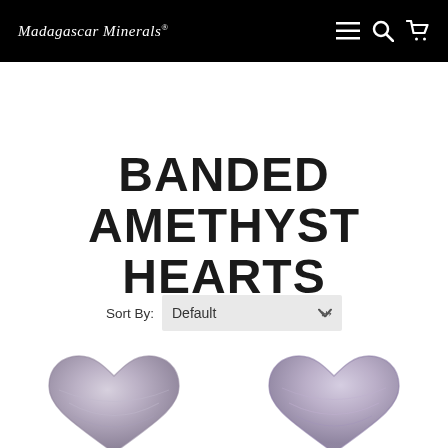Madagascar Minerals®
BANDED AMETHYST HEARTS
Sort By: Default
[Figure (photo): Two partially visible banded amethyst heart-shaped crystals shown at the bottom of the page, in a gray/purple tone.]